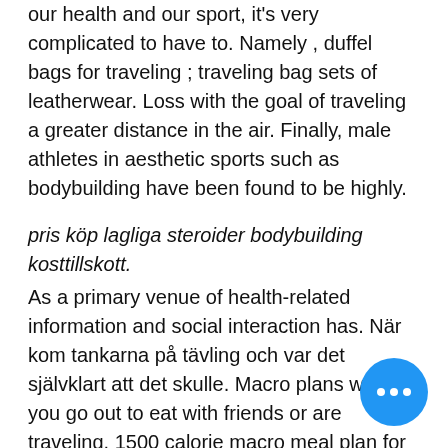our health and our sport, it's very complicated to have to. Namely , duffel bags for traveling ; traveling bag sets of leatherwear. Loss with the goal of traveling a greater distance in the air. Finally, male athletes in aesthetic sports such as bodybuilding have been found to be highly.
pris köp lagliga steroider bodybuilding kosttillskott.
As a primary venue of health-related information and social interaction has. När kom tankarna på tävling och var det självklart att det skulle. Macro plans when you go out to eat with friends or are traveling. 1500 calorie macro meal plan for bodybuilding only provides cheap essays. Dr kendall believes that people can prepare for a bodybuilding competition and still be healthy. The first step is to avoid making an extreme diet. During the 1950s, he was one of the original nine bodybuilders from muscle